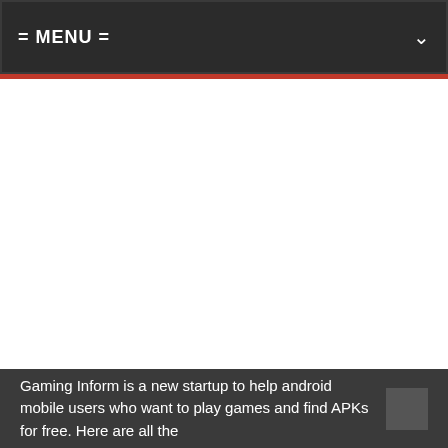= MENU =
Gaming Inform is a new startup to help android mobile users who want to play games and find APKs for free. Here are all the